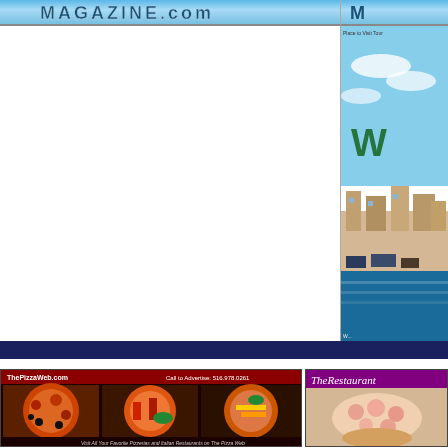[Figure (screenshot): MAGAZINE.com logo banner in blue/teal colors at top left]
[Figure (screenshot): Partial banner top right, continuation of magazine header]
[Figure (photo): Right side scenic waterfront/coastal town image with sky, buildings, and water, partially showing 'W' letter overlay]
[Figure (screenshot): Dark navy horizontal bar separator]
[Figure (screenshot): ThePizzaWeb.com advertisement with three pizza photos, dark red header, Call to Advertise: 516.978.0261]
[Figure (screenshot): TheRestaurantWeb advertisement with purple header and food photo (partially visible on right)]
[Figure (screenshot): TheHomeContractorsWeb.com ad with animated contractor figures on wood background, To Advertise Call: 516.978.0261 (partially cut off below)]
[Figure (screenshot): TheCarServicesWeb.com ad with blue background and car images (partially visible)]
[Figure (screenshot): TheRealtorsWeb.com To Advertise Call: 516-978-0261 (partial at bottom)]
[Figure (screenshot): TheFarmersWeb.com ad with red barn image (partial at bottom right)]